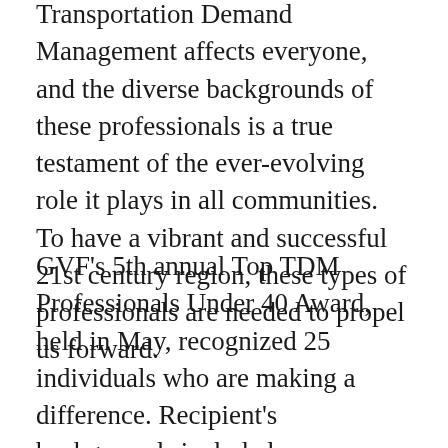Transportation Demand Management affects everyone, and the diverse backgrounds of these professionals is a true testament of the ever-evolving role it plays in all communities. To have a vibrant and successful 21st century region, these types of professionals are needed to propel us forward.
GVF's 5th annual Top TDM Professionals Under 40 Award, held in May, recognized 25 individuals who are making a difference. Recipient's backgrounds included: Transportation Planners, Engineers, Project Managers, Marketing, Communications, Access Design Project Managers, Municipal Services Project Manager. They serve in over 30 board and committee positions